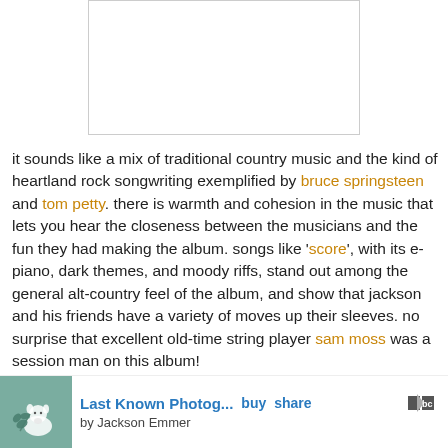[Figure (photo): White album art image placeholder with thin grey border]
it sounds like a mix of traditional country music and the kind of heartland rock songwriting exemplified by bruce springsteen and tom petty. there is warmth and cohesion in the music that lets you hear the closeness between the musicians and the fun they had making the album. songs like 'score', with its e-piano, dark themes, and moody riffs, stand out among the general alt-country feel of the album, and show that jackson and his friends have a variety of moves up their sleeves. no surprise that excellent old-time string player sam moss was a session man on this album!
[Figure (illustration): Small teal album art thumbnail with dog illustration]
Last Known Photog... buy share bc by Jackson Emmer